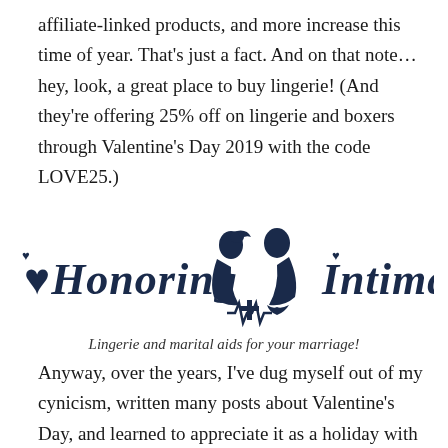affiliate-linked products, and more increase this time of year. That's just a fact. And on that note…hey, look, a great place to buy lingerie! (And they're offering 25% off on lingerie and boxers through Valentine's Day 2019 with the code LOVE25.)
[Figure (logo): Honoring Intimate logo: decorative script text 'Honoring' on the left, silhouette of a couple facing each other with a heartbeat/cross symbol in the center, and script text 'Intimate' on the right, all in dark navy blue.]
Lingerie and marital aids for your marriage!
Anyway, over the years, I've dug myself out of my cynicism, written many posts about Valentine's Day, and learned to appreciate it as a holiday with origins in a lovely